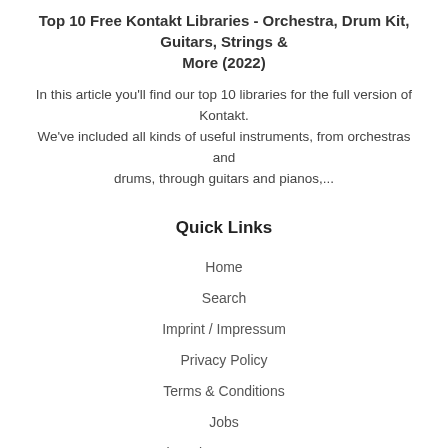Top 10 Free Kontakt Libraries - Orchestra, Drum Kit, Guitars, Strings & More (2022)
In this article you'll find our top 10 libraries for the full version of Kontakt. We've included all kinds of useful instruments, from orchestras and drums, through guitars and pianos,...
Quick Links
Home
Search
Imprint / Impressum
Privacy Policy
Terms & Conditions
Jobs
Licensing Agreement
Affiliate Program
Info